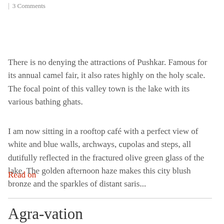| 3 Comments
There is no denying the attractions of Pushkar. Famous for its annual camel fair, it also rates highly on the holy scale. The focal point of this valley town is the lake with its various bathing ghats.
I am now sitting in a rooftop café with a perfect view of white and blue walls, archways, cupolas and steps, all dutifully reflected in the fractured olive green glass of the lake. The golden afternoon haze makes this city blush bronze and the sparkles of distant saris...
Read on
Agra-vation